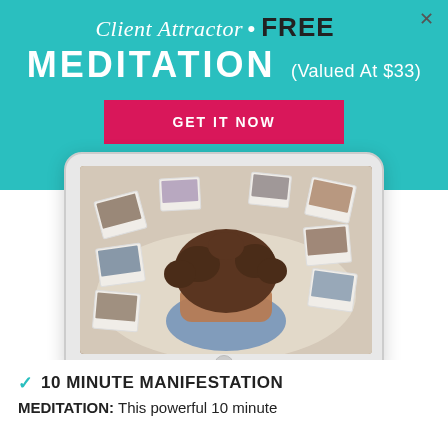Client Attractor • FREE MEDITATION (Valued At $33)
GET IT NOW
[Figure (photo): Tablet device showing a woman lying on a bed with curly hair, hands covering her face, surrounded by polaroid photos on a white sheet]
✓ 10 MINUTE MANIFESTATION
MEDITATION: This powerful 10 minute